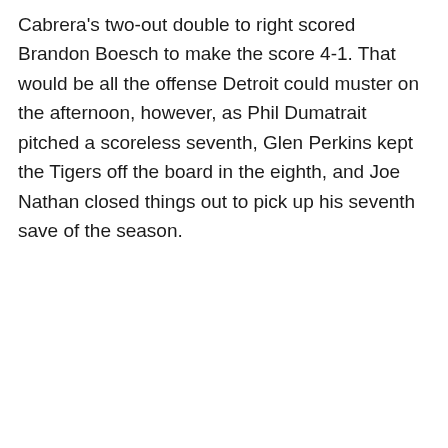Cabrera's two-out double to right scored Brandon Boesch to make the score 4-1. That would be all the offense Detroit could muster on the afternoon, however, as Phil Dumatrait pitched a scoreless seventh, Glen Perkins kept the Tigers off the board in the eighth, and Joe Nathan closed things out to pick up his seventh save of the season.